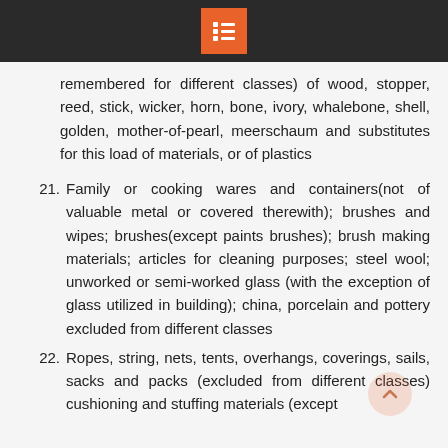remembered for different classes) of wood, stopper, reed, stick, wicker, horn, bone, ivory, whalebone, shell, golden, mother-of-pearl, meerschaum and substitutes for this load of materials, or of plastics
21. Family or cooking wares and containers(not of valuable metal or covered therewith); brushes and wipes; brushes(except paints brushes); brush making materials; articles for cleaning purposes; steel wool; unworked or semi-worked glass (with the exception of glass utilized in building); china, porcelain and pottery excluded from different classes
22. Ropes, string, nets, tents, overhangs, coverings, sails, sacks and packs (excluded from different classes) cushioning and stuffing materials (except